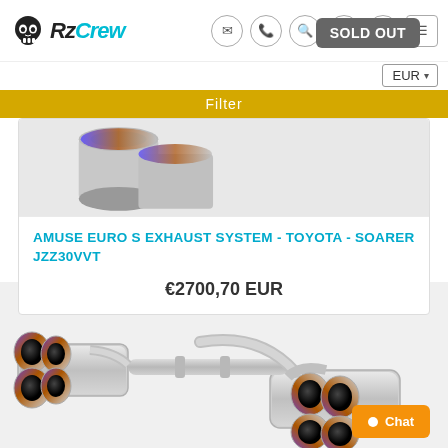RZCrew - navigation header with logo, email, phone, search, cart, account, menu icons, EUR currency selector
Filter
[Figure (photo): Partial photo of exhaust system / titanium-tipped exhaust pipe, top portion visible]
AMUSE EURO S EXHAUST SYSTEM - TOYOTA - SOARER JZZ30VVT
€2700,70 EUR
[Figure (photo): Stainless steel dual exhaust system with quad titanium-burnt tips, SOLD OUT badge in top right corner]
SOLD OUT
Chat